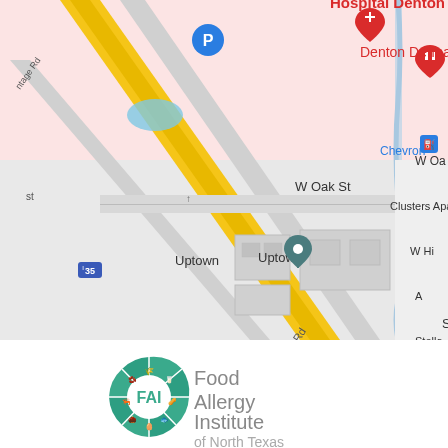[Figure (map): Google Maps screenshot showing the area around W Oak St in Denton, TX. Visible landmarks include Hospital Denton, Denton Dermatology, Chevron gas station, Uptown, UC Denton Student Housing, I-35 Frontage Rd, Clusters Apartments, and other nearby streets.]
[Figure (logo): Food Allergy Institute of North Texas (FAI) logo — circular icon with green/teal pie segments containing food allergy icons, with text 'Food Allergy Institute of North Texas' in gray to the right.]